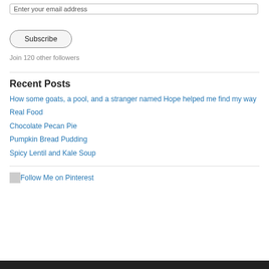Enter your email address
Subscribe
Join 120 other followers
Recent Posts
How some goats, a pool, and a stranger named Hope helped me find my way
Real Food
Chocolate Pecan Pie
Pumpkin Bread Pudding
Spicy Lentil and Kale Soup
[Figure (other): Follow Me on Pinterest button/image link]